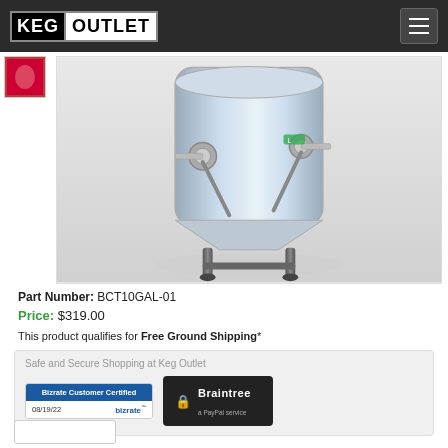Keg Outlet
[Figure (photo): Stainless steel 10 gallon conical fermenter/brewing tank with valves and stand on a white/grey background]
Part Number: BCT10GAL-01
Price: $319.00
This product qualifies for Free Ground Shipping*
Safe and Secure Shopping at Keg Outlet
[Figure (logo): Bizrate Customer Certified badge dated 08/19/22]
[Figure (logo): Braintree a PayPal service badge]